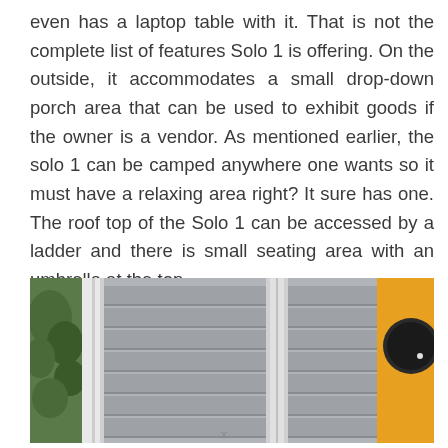even has a laptop table with it. That is not the complete list of features Solo 1 is offering. On the outside, it accommodates a small drop-down porch area that can be used to exhibit goods if the owner is a vendor. As mentioned earlier, the solo 1 can be camped anywhere one wants so it must have a relaxing area right? It sure has one. The roof top of the Solo 1 can be accessed by a ladder and there is small seating area with an umbrella at the top.
[Figure (photo): Photograph of the Solo 1 exterior showing louvered window panels (aluminium shutters) and an orange wall with a circular porthole window. Two sets of horizontal louvered panels are visible in the center, with green foliage on the left and the orange exterior with circular window on the right.]
x